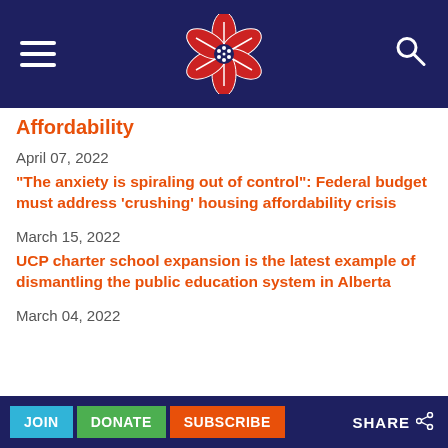[Figure (logo): Red flower/poppy logo with white lines on dark navy blue background header bar with hamburger menu icon on left and search icon on right]
Affordability
April 07, 2022
“The anxiety is spiraling out of control”: Federal budget must address ‘crushing’ housing affordability crisis
March 15, 2022
UCP charter school expansion is the latest example of dismantling the public education system in Alberta
March 04, 2022
JOIN  DONATE  SUBSCRIBE  SHARE